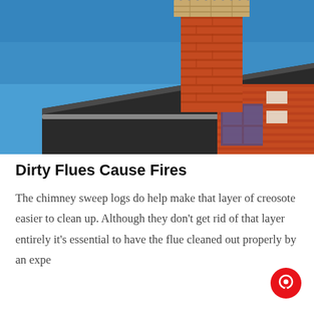[Figure (photo): Close-up photograph of a red brick house chimney against a bright blue sky, with a dark grey roof visible below the chimney. The chimney has a chimney cap at the top.]
Dirty Flues Cause Fires
The chimney sweep logs do help make that layer of creosote easier to clean up. Although they don't get rid of that layer entirely it's essential to have the flue cleaned out properly by an expe...